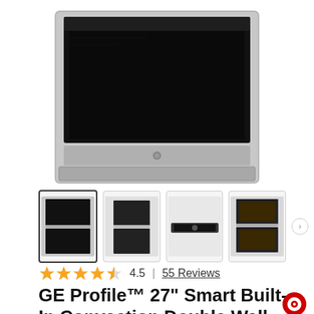[Figure (photo): GE Profile double wall oven in stainless steel, showing black glass doors and control panel, product main image]
[Figure (photo): Four product thumbnail images of the GE Profile double wall oven from different angles, with a right arrow navigation button]
4.5  |  55 Reviews
GE Profile™ 27" Smart Built-In Convection Double Wall Oven